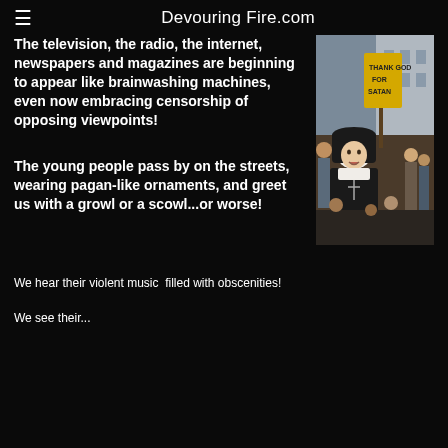≡  Devouring Fire.com
The television, the radio, the internet, newspapers and magazines are beginning to appear like brainwashing machines, even now embracing censorship of opposing viewpoints!
[Figure (photo): A nun in black and white habit standing in a crowd at a protest, with someone holding a yellow sign reading 'Thank God for Satan' in the background]
The young people pass by on the streets, wearing pagan-like ornaments, and greet us with a growl or a scowl...or worse!
We hear their violent music  filled with obscenities!
We see their...